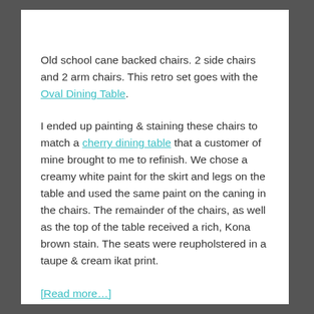Old school cane backed chairs.  2 side chairs and 2 arm chairs.  This retro set goes with the Oval Dining Table.
I ended up painting & staining these chairs to match a cherry dining table that a customer of mine brought to me to refinish.  We chose a creamy white paint for the skirt and legs on the table and used the same paint on the caning in the chairs.  The remainder of the chairs, as well as the top of the table received a rich, Kona brown stain.  The seats were reupholstered in a taupe & cream ikat print.
[Read more...]